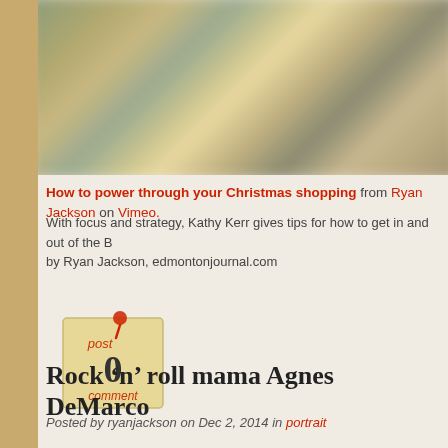[Figure (photo): Blurred/out-of-focus photograph used as video thumbnail, showing indistinct warm-toned background shapes]
How to power through your Christmas shopping from Ryan Jackson on Vimeo.
With focus and strategy, Kathy Kerr gives tips for how to get in and out of the B by Ryan Jackson, edmontonjournal.com
[Figure (illustration): Post badge/stamp graphic showing '0' in center with text 'post' above and 'comment' below, styled like a sticky note with a red pin]
Rock 'n' roll mama Agnes DeMarco
Posted by ryanjackson on Dec 2, 2014 in portrait